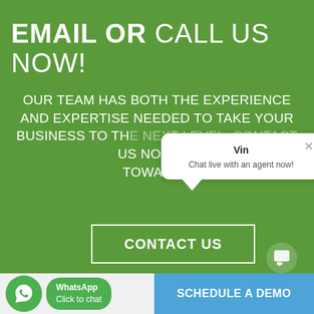EMAIL OR CALL US NOW!
OUR TEAM HAS BOTH THE EXPERIENCE AND EXPERTISE NEEDED TO TAKE YOUR BUSINESS TO THE NEXT LEVEL. CONTACT US NOW TO TOWARDS
[Figure (other): White chat popup overlay with 'Vin' as agent name and text 'Chat live with an agent now!' with a close X button]
CONTACT US
[Figure (infographic): Bottom bar with WhatsApp green button 'Click to chat' on left and blue 'SCHEDULE A DEMO' button on right]